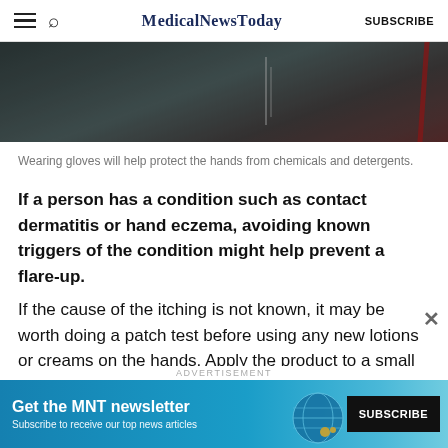MEDICALNEWSTODAY | SUBSCRIBE
[Figure (photo): Dark background image showing what appears to be a laboratory or industrial setting with a red element on the right side.]
Wearing gloves will help protect the hands from chemicals and detergents.
If a person has a condition such as contact dermatitis or hand eczema, avoiding known triggers of the condition might help prevent a flare-up.
If the cause of the itching is not known, it may be worth doing a patch test before using any new lotions or creams on the hands. Apply the product to a small area of skin and leave it on overnight to make sure it
[Figure (other): Advertisement banner: Get the MNT newsletter. Subscribe to receive our top news articles. SUBSCRIBE button.]